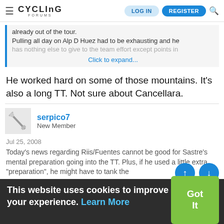CYCLING FORUMS — LOG IN | REGISTER
already out of the tour.
Pulling all day on Alp D Huez had to be exhausting and he has nothing else to give to the team effort except points in
Click to expand...
He worked hard on some of those mountains. It's also a long TT. Not sure about Cancellara.
serpico7
New Member
Jul 25, 2008
Today's news regarding Riis/Fuentes cannot be good for Sastre's mental preparation going into the TT. Plus, if he used a little extra "preparation", he might have to tank the
This website uses cookies to improve your experience. Learn More